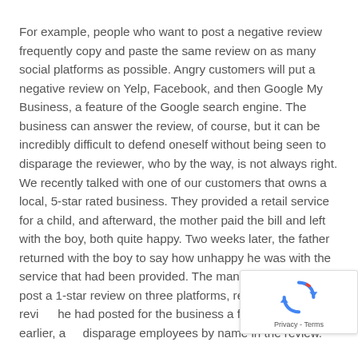For example, people who want to post a negative review frequently copy and paste the same review on as many social platforms as possible. Angry customers will put a negative review on Yelp, Facebook, and then Google My Business, a feature of the Google search engine. The business can answer the review, of course, but it can be incredibly difficult to defend oneself without being seen to disparage the reviewer, who by the way, is not always right. We recently talked with one of our customers that owns a local, 5-star rated business. They provided a retail service for a child, and afterward, the mother paid the bill and left with the boy, both quite happy. Two weeks later, the father returned with the boy to say how unhappy he was with the service that had been provided. The man proceeded to post a 1-star review on three platforms, remove a 5-star review he had posted for the business a few months earlier, and disparage employees by name in the review.
[Figure (other): reCAPTCHA badge with spinning arrows icon and Privacy - Terms text]